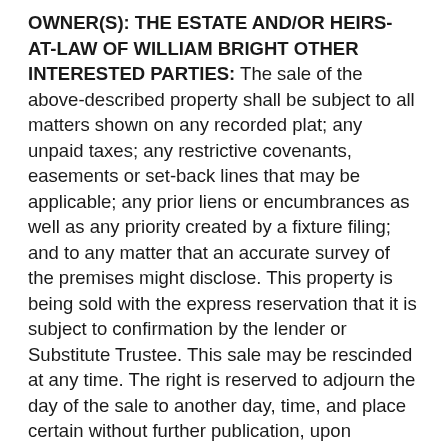OWNER(S): THE ESTATE AND/OR HEIRS-AT-LAW OF WILLIAM BRIGHT OTHER INTERESTED PARTIES: The sale of the above-described property shall be subject to all matters shown on any recorded plat; any unpaid taxes; any restrictive covenants, easements or set-back lines that may be applicable; any prior liens or encumbrances as well as any priority created by a fixture filing; and to any matter that an accurate survey of the premises might disclose. This property is being sold with the express reservation that it is subject to confirmation by the lender or Substitute Trustee. This sale may be rescinded at any time. The right is reserved to adjourn the day of the sale to another day, time, and place certain without further publication, upon announcement at the time and place for the sale set forth above. All right and equity of